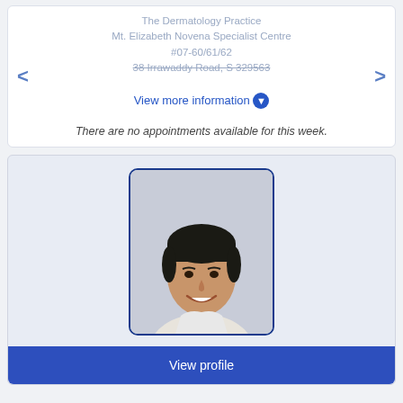The Dermatology Practice
Mt. Elizabeth Novena Specialist Centre
#07-60/61/62
38 Irrawaddy Road, S 329563
View more information ↓
There are no appointments available for this week.
[Figure (photo): Headshot photo of a male Asian doctor smiling, wearing a white coat, against a light grey background.]
View profile